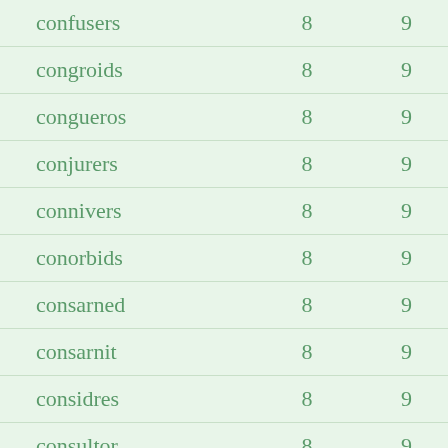| confusers | 8 | 9 |
| congroids | 8 | 9 |
| congueros | 8 | 9 |
| conjurers | 8 | 9 |
| connivers | 8 | 9 |
| conorbids | 8 | 9 |
| consarned | 8 | 9 |
| consarnit | 8 | 9 |
| considres | 8 | 9 |
| consultor | 8 | 9 |